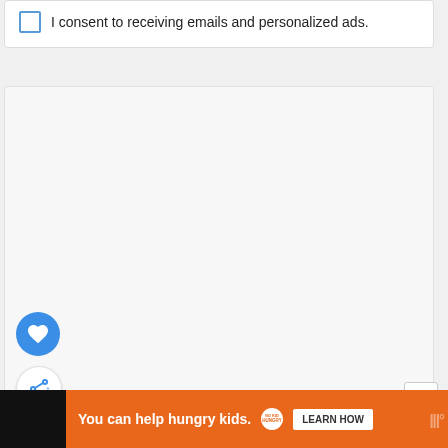I consent to receiving emails and personalized ads.
[Figure (screenshot): Large grey empty content area card]
[Figure (illustration): Blue circular heart/like button]
[Figure (illustration): White circular share button with share icon]
[Figure (illustration): Scroll-to-top chevron up arrow button]
WHAT'S NEXT →
18 Free Macrame Wa...
[Figure (illustration): 18 FREE badge/seal thumbnail for macrame patterns article]
[Figure (infographic): Orange advertisement bar: You can help hungry kids. NO KID HUNGRY logo. LEARN HOW button. Close button. Waterfall logo.]